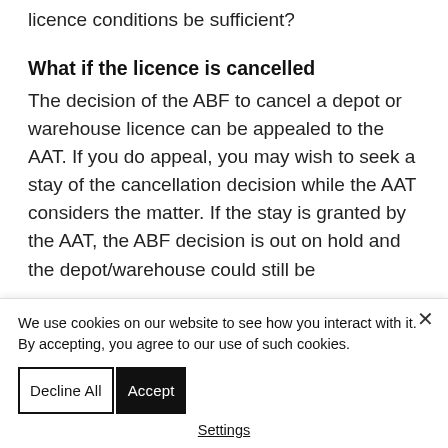licence conditions be sufficient?
What if the licence is cancelled
The decision of the ABF to cancel a depot or warehouse licence can be appealed to the AAT. If you do appeal, you may wish to seek a stay of the cancellation decision while the AAT considers the matter. If the stay is granted by the AAT, the ABF decision is out on hold and the depot/warehouse could still be
We use cookies on our website to see how you interact with it. By accepting, you agree to our use of such cookies.
Decline All
Accept
Settings